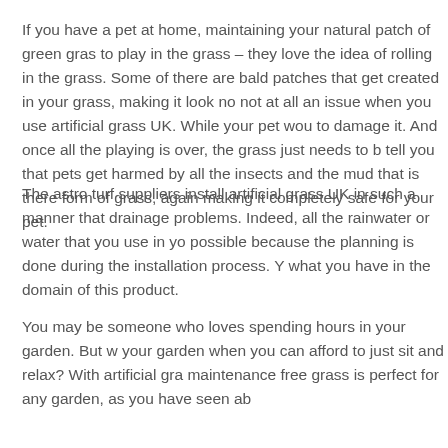If you have a pet at home, maintaining your natural patch of green gras to play in the grass – they love the idea of rolling in the grass. Some of there are bald patches that get created in your grass, making it look no not at all an issue when you use artificial grass UK. While your pet wou to damage it. And once all the playing is over, the grass just needs to b tell you that pets get harmed by all the insects and the mud that is there form of grass, again making it completely safe for your pet.
The astro turf suppliers install artificial grass UK in such a manner that drainage problems. Indeed, all the rainwater or water that you use in yo possible because the planning is done during the installation process. Y what you have in the domain of this product.
You may be someone who loves spending hours in your garden. But w your garden when you can afford to just sit and relax? With artificial gra maintenance free grass is perfect for any garden, as you have seen ab